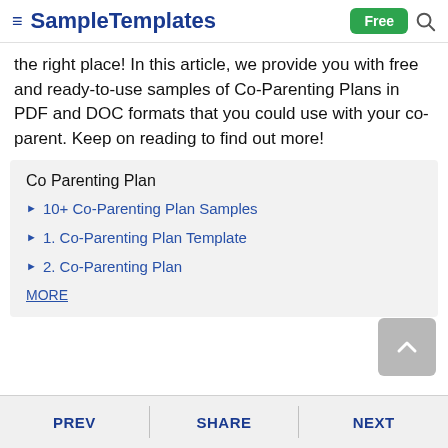SampleTemplates | Free
the right place! In this article, we provide you with free and ready-to-use samples of Co-Parenting Plans in PDF and DOC formats that you could use with your co-parent. Keep on reading to find out more!
Co Parenting Plan
10+ Co-Parenting Plan Samples
1. Co-Parenting Plan Template
2. Co-Parenting Plan
MORE
PREV | SHARE | NEXT